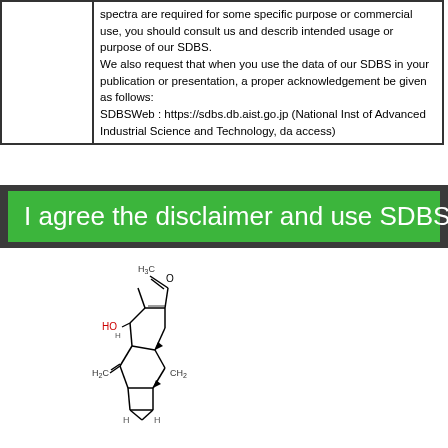spectra are required for some specific purpose or commercial use, you should consult us and describe intended usage or purpose of our SDBS. We also request that when you use the data of our SDBS in your publication or presentation, a proper acknowledgement be given as follows: SDBSWeb : https://sdbs.db.aist.go.jp (National Institute of Advanced Industrial Science and Technology, date of access)
I agree the disclaimer and use SDBS
[Figure (illustration): Chemical structure diagram of a bicyclic organic compound with a furan ring, hydroxyl group (HO), methylene groups (H2C), and methyl substituents (H3C, CH2). The structure shows a complex polycyclic molecule with stereocenters.]